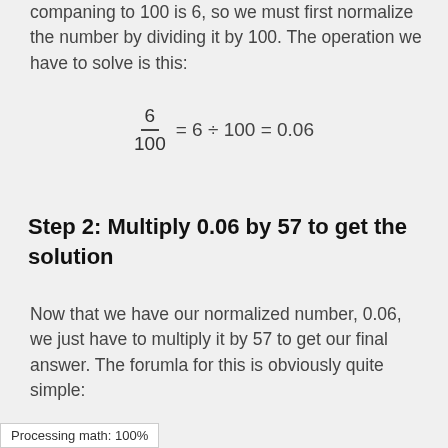companing to 100 is 6, so we must first normalize the number by dividing it by 100. The operation we have to solve is this:
Step 2: Multiply 0.06 by 57 to get the solution
Now that we have our normalized number, 0.06, we just have to multiply it by 57 to get our final answer. The forumla for this is obviously quite simple:
Processing math: 100%